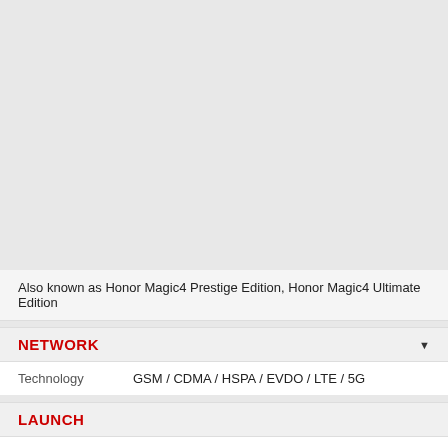[Figure (photo): Gray placeholder area representing a device image for Honor Magic4 series]
Also known as Honor Magic4 Prestige Edition, Honor Magic4 Ultimate Edition
NETWORK
|  |  |
| --- | --- |
| Technology | GSM / CDMA / HSPA / EVDO / LTE / 5G |
LAUNCH
|  |  |
| --- | --- |
| Announced | 2022, March 17 |